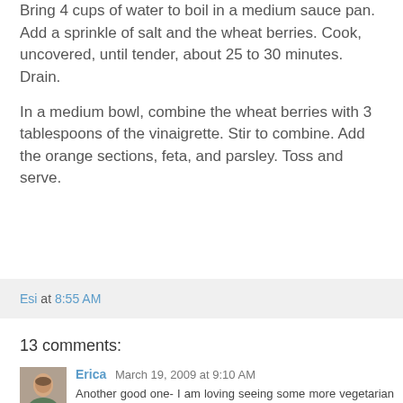Bring 4 cups of water to boil in a medium sauce pan. Add a sprinkle of salt and the wheat berries. Cook, uncovered, until tender, about 25 to 30 minutes. Drain.
In a medium bowl, combine the wheat berries with 3 tablespoons of the vinaigrette. Stir to combine. Add the orange sections, feta, and parsley. Toss and serve.
Esi at 8:55 AM
13 comments:
Erica March 19, 2009 at 9:10 AM
Another good one- I am loving seeing some more vegetarian or vegan options. I really want to pick up some wheatberries!! Ahhh bathingsuit season. I keep reminding my group fitness classes that, that time of year is coming up- especially when they look like they're slacking! ;)
Reply